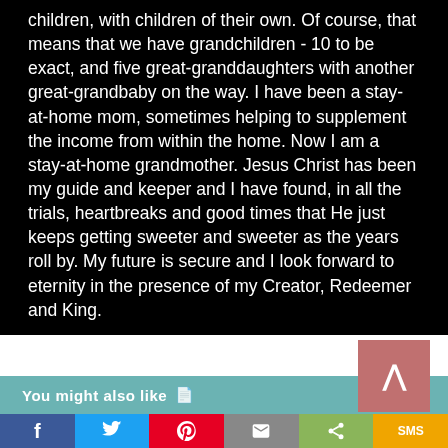children, with children of their own. Of course, that means that we have grandchildren - 10 to be exact, and five great-granddaughters with another great-grandbaby on the way. I have been a stay-at-home mom, sometimes helping to supplement the income from within the home. Now I am a stay-at-home grandmother. Jesus Christ has been my guide and keeper and I have found, in all the trials, heartbreaks and good times that He just keeps getting sweeter and sweeter as the years roll by. My future is secure and I look forward to eternity in the presence of my Creator, Redeemer and King.
[Figure (other): Back to top button - pink/mauve square with a white upward-pointing caret (^) symbol]
You might also like
[Figure (other): Social share bar with six buttons: Facebook (blue, f), Twitter (blue, bird), Pinterest (red, P), Email (grey, envelope), Share (green, share icon), SMS (yellow/orange, SMS)]